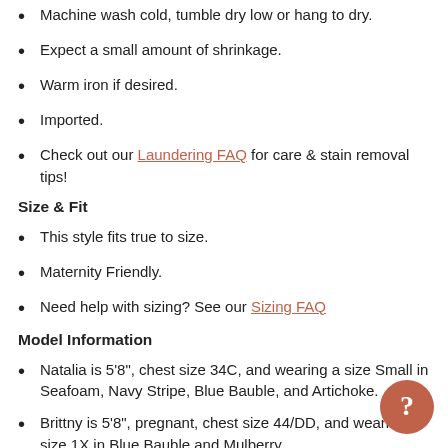Machine wash cold, tumble dry low or hang to dry.
Expect a small amount of shrinkage.
Warm iron if desired.
Imported.
Check out our Laundering FAQ for care & stain removal tips!
Size & Fit
This style fits true to size.
Maternity Friendly.
Need help with sizing? See our Sizing FAQ
Model Information
Natalia is 5'8", chest size 34C, and wearing a size Small in Seafoam, Navy Stripe, Blue Bauble, and Artichoke.
Brittny is 5'8", pregnant, chest size 44/DD, and wearing a size 1X in Blue Bauble and Mulberry.
Amy is 5'2, 120 pounds, chest size 34/D and wearing a size